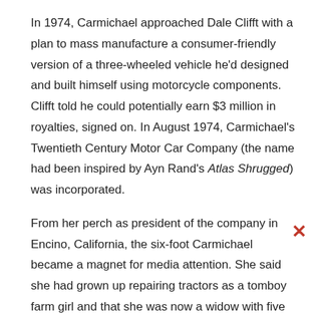In 1974, Carmichael approached Dale Clifft with a plan to mass manufacture a consumer-friendly version of a three-wheeled vehicle he'd designed and built himself using motorcycle components. Clifft told he could potentially earn $3 million in royalties, signed on. In August 1974, Carmichael's Twentieth Century Motor Car Company (the name had been inspired by Ayn Rand's Atlas Shrugged) was incorporated.
From her perch as president of the company in Encino, California, the six-foot Carmichael became a magnet for media attention. She said she had grown up repairing tractors as a tomboy farm girl and that she was now a widow with five children whose husband had worked for NASA. She also described herself as having an MBA, an engineering degree and experience in a Florida-based family business, the Carmichael Research and Development Company, that built custom cars.
The Dale, which had two wheels in the front, one in the back, and